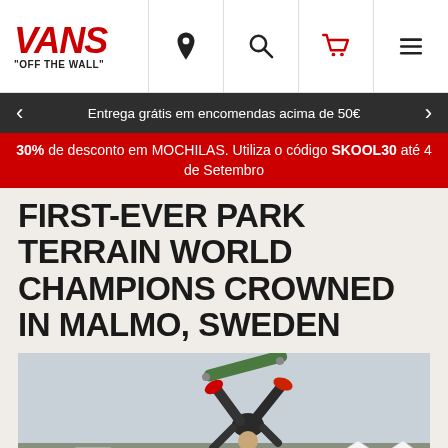VANS "OFF THE WALL" — Navigation header with location, search, cart, and menu icons
Entrega grátis em encomendas acima de 50€
30% de desconto em MOCHILAS. Utiliza o código SKOOL30 até 4 de Setembro
FIRST-EVER PARK TERRAIN WORLD CHAMPIONS CROWNED IN MALMO, SWEDEN
[Figure (photo): Skateboarder performing an inverted trick at a park terrain competition in Malmö, Sweden, with a large crowd visible in the background and white tent structures on the right.]